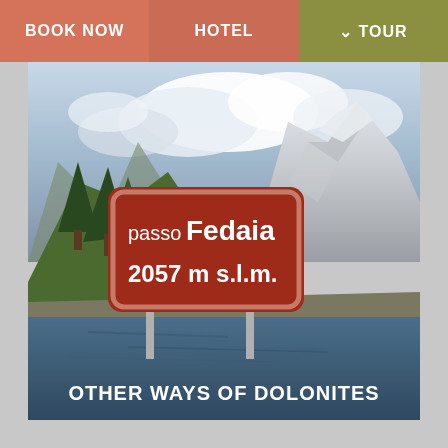BOOK NOW | HOTEL | TOUR
[Figure (photo): Mountain pass photo showing a red road sign reading 'passo Fedaia 2057 m s.l.m.' in front of a mountain lake with rocky peaks and trees in background. Text overlay reads 'OTHER WAYS OF DOLONITES']